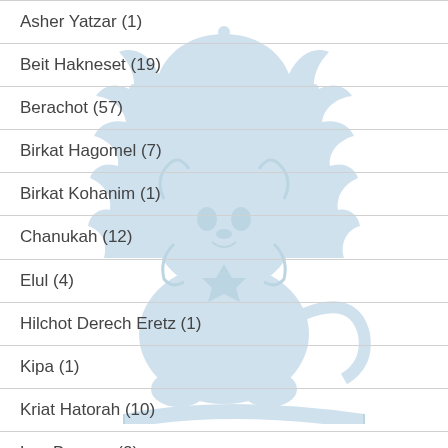Asher Yatzar (1)
Beit Hakneset (19)
Berachot (57)
Birkat Hagomel (7)
Birkat Kohanim (1)
Chanukah (12)
Elul (4)
Hilchot Derech Eretz (1)
Kipa (1)
Kriat Hatorah (10)
Lag Baomer (2)
[Figure (illustration): Light blue decorative lion with crown emblem watermark centered on page]